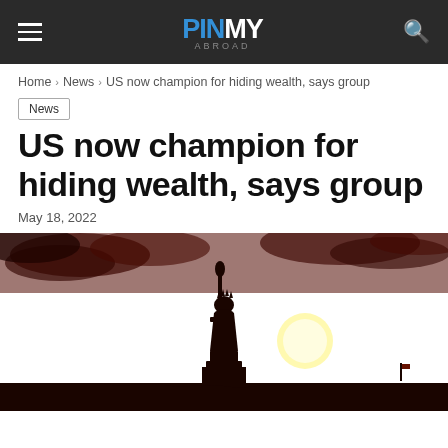PINMY Abroad
Home › News › US now champion for hiding wealth, says group
News
US now champion for hiding wealth, says group
May 18, 2022
[Figure (photo): Silhouette of the Statue of Liberty against a vivid orange sunset sky with a large bright sun visible to the right of the statue and dramatic clouds above.]